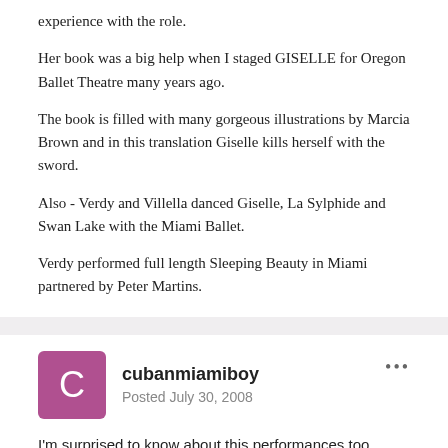experience with the role.
Her book was a big help when I staged GISELLE for Oregon Ballet Theatre many years ago.
The book is filled with many gorgeous illustrations by Marcia Brown and in this translation Giselle kills herself with the sword.
Also - Verdy and Villella danced Giselle, La Sylphide and Swan Lake with the Miami Ballet.
Verdy performed full length Sleeping Beauty in Miami partnered by Peter Martins.
cubanmiamiboy
Posted July 30, 2008
I'm surprised to know about this performances too. While reading their books i often wondered would be for a dancer NOT to access a specific role because of Company Repertoire issues. I guess the answer is simple: take it or leave it-(right Gelsey...?) Well, now i see